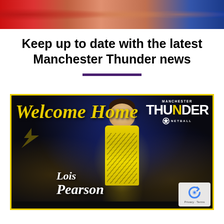[Figure (photo): Top banner showing athletes/players hands in red and blue sports uniforms]
Keep up to date with the latest Manchester Thunder news
[Figure (photo): Manchester Thunder netball club promotional image welcoming Lois Pearson back. Dark background with bokeh lights, player in yellow Thunder kit, 'Welcome Home' in yellow script text on left, Manchester Thunder logo top right, player name 'Lois Pearson' in white italic script at bottom center. reCAPTCHA badge visible bottom right.]